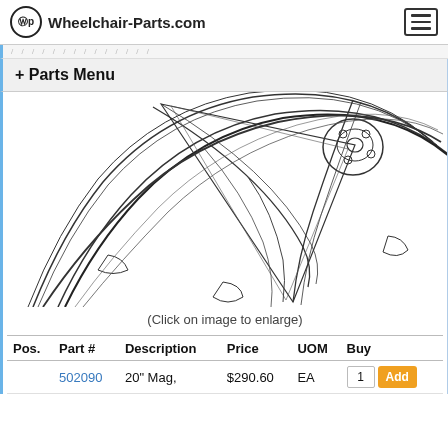Wheelchair-Parts.com
+ Parts Menu
[Figure (engineering-diagram): Technical line drawing of a wheelchair mag wheel, showing spokes, hub, and rim detail in close-up partial view.]
(Click on image to enlarge)
| Pos. | Part # | Description | Price | UOM | Buy |
| --- | --- | --- | --- | --- | --- |
|  | 502090 | 20" Mag, | $290.60 | EA | 1 Add |